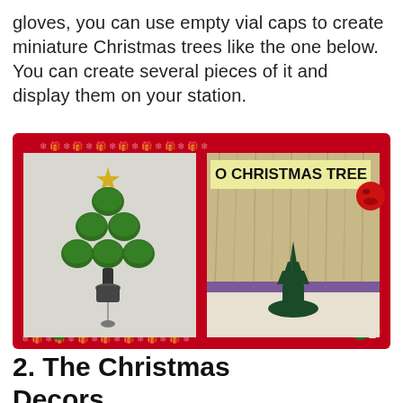gloves, you can use empty vial caps to create miniature Christmas trees like the one below. You can create several pieces of it and display them on your station.
[Figure (photo): Two photos side by side in a red Christmas-themed decorative border. Left photo shows a miniature Christmas tree made from green vial caps arranged in a tree shape with a gold star on top, attached to a badge reel. Right photo shows a meme labeled 'O CHRISTMAS TREE' with an image of a single dark green plastic bump/cap shaped like a tiny tree on a purple surface, with straw-like background and a red emoji face.]
2. The Christmas Decors